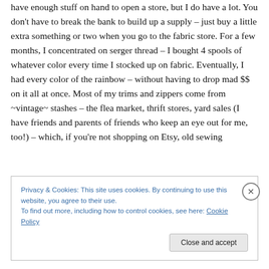have enough stuff on hand to open a store, but I do have a lot. You don't have to break the bank to build up a supply – just buy a little extra something or two when you go to the fabric store. For a few months, I concentrated on serger thread – I bought 4 spools of whatever color every time I stocked up on fabric. Eventually, I had every color of the rainbow – without having to drop mad $$ on it all at once. Most of my trims and zippers come from ~vintage~ stashes – the flea market, thrift stores, yard sales (I have friends and parents of friends who keep an eye out for me, too!) – which, if you're not shopping on Etsy, old sewing
Privacy & Cookies: This site uses cookies. By continuing to use this website, you agree to their use.
To find out more, including how to control cookies, see here: Cookie Policy
Close and accept